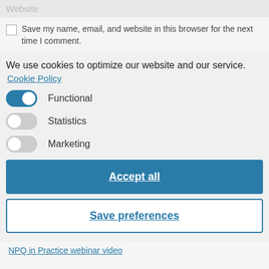Website
Save my name, email, and website in this browser for the next time I comment.
We use cookies to optimize our website and our service.
Cookie Policy
Functional
Statistics
Marketing
Accept all
Save preferences
NPQ in Practice webinar video